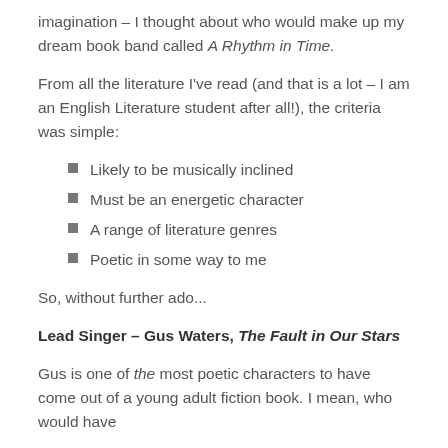imagination – I thought about who would make up my dream book band called A Rhythm in Time.
From all the literature I've read (and that is a lot – I am an English Literature student after all!), the criteria was simple:
Likely to be musically inclined
Must be an energetic character
A range of literature genres
Poetic in some way to me
So, without further ado...
Lead Singer – Gus Waters, The Fault in Our Stars
Gus is one of the most poetic characters to have come out of a young adult fiction book. I mean, who would have